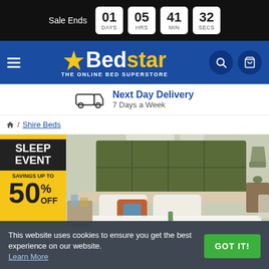Sale Ends 01 DAYS 05 HRS 41 MIN 32 SECS
[Figure (logo): Bedstar - The Online Bed Superstore logo with hamburger menu, search and cart icons on blue background]
Next Day Delivery 7 Days a Week
/ Shire Beds
[Figure (photo): Bedroom scene with a green upholstered headboard bed, decorative pillows, side table with lamp, and Sleep Event promotional badge showing savings up to 50% off]
This website uses cookies to ensure you get the best experience on our website. Learn More GOT IT!